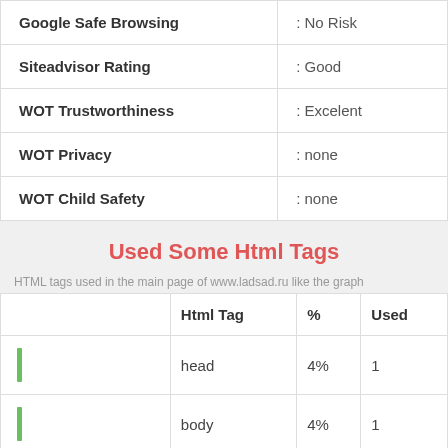|  |  |
| --- | --- |
| Google Safe Browsing | : No Risk |
| Siteadvisor Rating | : Good |
| WOT Trustworthiness | : Excelent |
| WOT Privacy | : none |
| WOT Child Safety | : none |
Used Some Html Tags
HTML tags used in the main page of www.ladsad.ru like the graph
|  | Html Tag | % | Used |
| --- | --- | --- | --- |
| [bar] | head | 4% | 1 |
| [bar] | body | 4% | 1 |